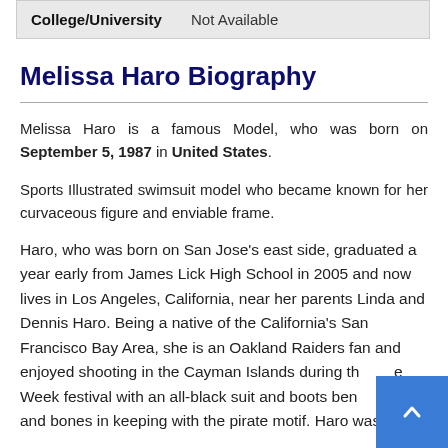| College/University |  |
| --- | --- |
| College/University | Not Available |
Melissa Haro Biography
Melissa Haro is a famous Model, who was born on September 5, 1987 in United States.
Sports Illustrated swimsuit model who became known for her curvaceous figure and enviable frame.
Haro, who was born on San Jose's east side, graduated a year early from James Lick High School in 2005 and now lives in Los Angeles, California, near her parents Linda and Dennis Haro. Being a native of the California's San Francisco Bay Area, she is an Oakland Raiders fan and enjoyed shooting in the Cayman Islands during th e Week festival with an all-black suit and boots ben e skull and bones in keeping with the pirate motif. Haro was